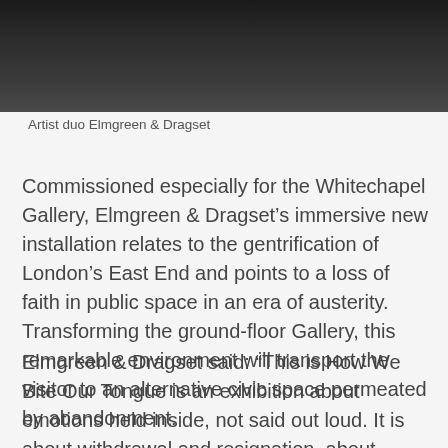[Figure (photo): Dark textured background photo, upper portion of image showing artist duo Elmgreen & Dragset]
Artist duo Elmgreen & Dragset
Commissioned especially for the Whitechapel Gallery, Elmgreen & Dragset’s immersive new installation relates to the gentrification of London’s East End and points to a loss of faith in public space in an era of austerity. Transforming the ground-floor Gallery, this remarkable environment will transport the visitor to an alternative civic space permeated by abandonment.
Elmgreen & Dragset said: “This is How We Bite Our Tongue is an exhibition about emotions held inside, not said out loud. It is about withdrawal and resignation, about absence and impermanence, the feeling of loss